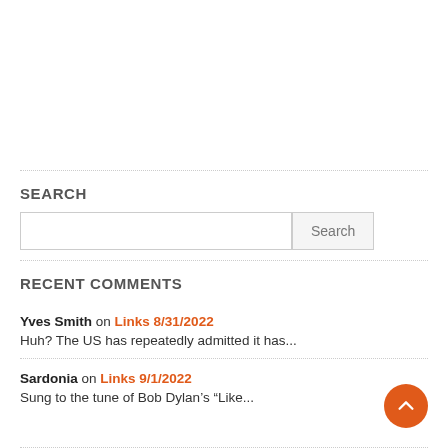SEARCH
RECENT COMMENTS
Yves Smith on Links 8/31/2022
Huh? The US has repeatedly admitted it has...
Sardonia on Links 9/1/2022
Sung to the tune of Bob Dylan's “Like...